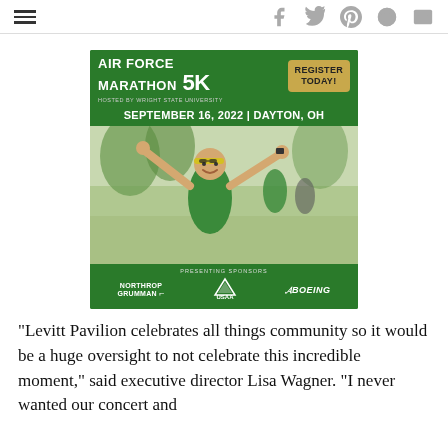Social icons and navigation header
[Figure (infographic): Air Force Marathon 5K advertisement banner. Green background with white text: AIR FORCE MARATHON 5K, HOSTED BY WRIGHT STATE UNIVERSITY, SEPTEMBER 16, 2022 | DAYTON, OH. Gold box with REGISTER TODAY button. Photo of a smiling woman in green shirt running with arms raised. Presenting sponsors: Northrop Grumman, USAA, Boeing.]
“Levitt Pavilion celebrates all things community so it would be a huge oversight to not celebrate this incredible moment,” said executive director Lisa Wagner. “I never wanted our concert and